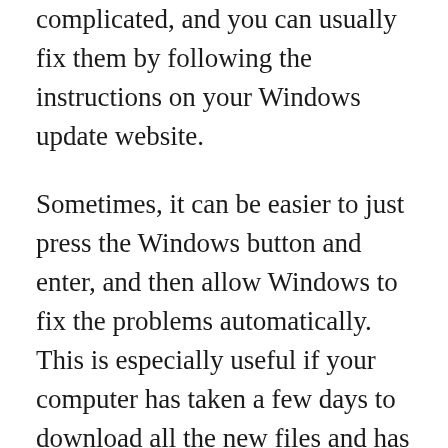complicated, and you can usually fix them by following the instructions on your Windows update website.
Sometimes, it can be easier to just press the Windows button and enter, and then allow Windows to fix the problems automatically. This is especially useful if your computer has taken a few days to download all the new files and has a big problem with it. You could press the Windows button + R, and then type “regedit” to find the problem. The registry editor will open, and you will be able to see all the lines that are associated with the problem.
You can then delete or modify these lines, depending on your needs. After this, restart your computer for the changes to take effect. Try this method if your computer is working perfectly after updating. It’s a much better